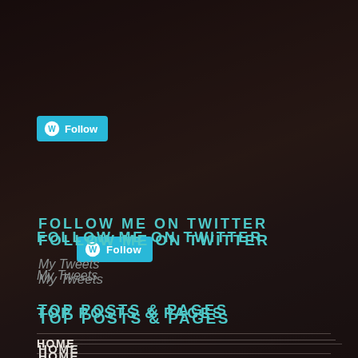[Figure (screenshot): WordPress Follow button with cyan background and white WordPress logo and 'Follow' text]
FOLLOW ME ON TWITTER
My Tweets
TOP POSTS & PAGES
HOME
ABOUT
SUBSCRIBE TO BLOG VIA EMAIL